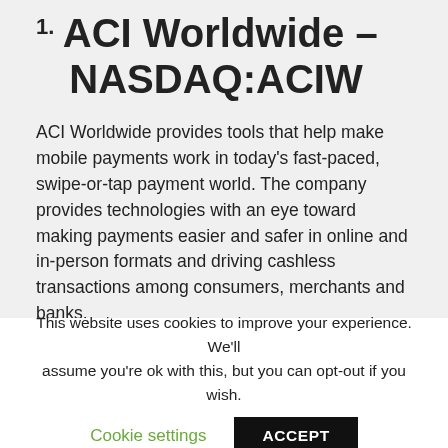1. ACI Worldwide – NASDAQ:ACIW
ACI Worldwide provides tools that help make mobile payments work in today's fast-paced, swipe-or-tap payment world. The company provides technologies with an eye toward making payments easier and safer in online and in-person formats and driving cashless transactions among consumers, merchants and banks.
This is a growing company that's poised for more growth, especially during and following the COVID-19 pandemic. For some businesses and people, cashless transactions have become more than convenience. They might be eschewing the
This website uses cookies to improve your experience. We'll assume you're ok with this, but you can opt-out if you wish.
Cookie settings    ACCEPT